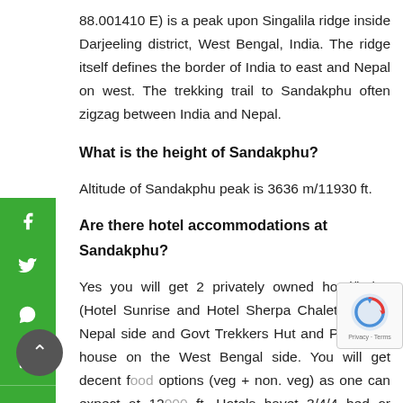88.001410 E) is a peak upon Singalila ridge inside Darjeeling district, West Bengal, India. The ridge itself defines the border of India to east and Nepal on west. The trekking trail to Sandakphu often zigzag between India and Nepal.
What is the height of Sandakphu?
Altitude of Sandakphu peak is 3636 m/11930 ft.
Are there hotel accommodations at Sandakphu?
Yes you will get 2 privately owned hotel/lodge (Hotel Sunrise and Hotel Sherpa Chalet) on the Nepal side and Govt Trekkers Hut and PWD rest house on the West Bengal side. You will get decent f... options (veg + non. veg) as one can expect at 12... ft. Hotels havet 3/4/4 bed or dormitory rooms with...